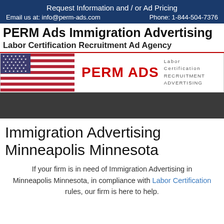Request Information and / or Ad Pricing
Email us at: info@perm-ads.com    Phone: 1-844-504-7376
PERM Ads Immigration Advertising
Labor Certification Recruitment Ad Agency
[Figure (logo): PERM ADS logo with US flag on left and text 'PERM ADS' in red with 'Labor Certification RECRUITMENT ADVERTISING' on right]
Immigration Advertising Minneapolis Minnesota
If your firm is in need of Immigration Advertising in Minneapolis Minnesota, in compliance with Labor Certification rules, our firm is here to help.